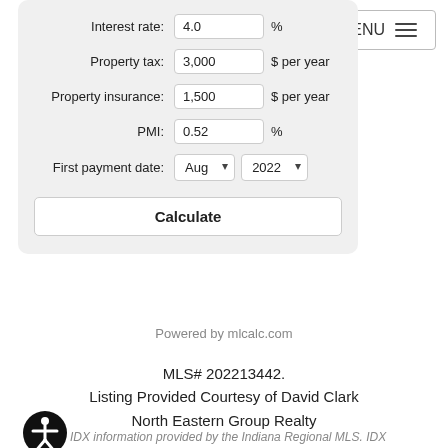Interest rate: 4.0 % | Property tax: 3,000 $ per year | Property insurance: 1,500 $ per year | PMI: 0.52 % | First payment date: Aug 2022 | Calculate
MENU
Powered by mlcalc.com
MLS# 202213442.
Listing Provided Courtesy of David Clark
North Eastern Group Realty
IDX information provided by the Indiana Regional MLS. IDX